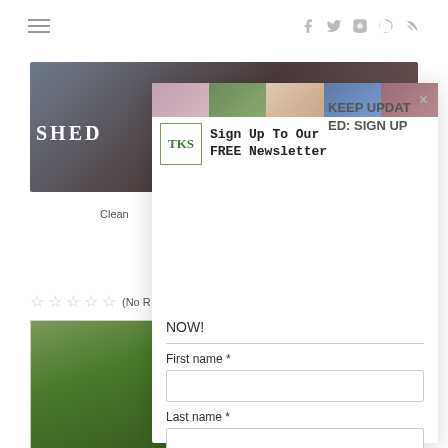Navigation bar with hamburger menu and social icons (f, twitter, instagram, pinterest, rss)
[Figure (photo): Background website screenshot with dark blurred photo strip showing partial text 'SHED' and garden photo below]
Clean
(No R
[Figure (screenshot): Newsletter signup modal popup with TKS logo, food photo strips, heading 'KEEP UPDATED: SIGN UP NOW!' and form fields for First name, Last name, E-mail]
KEEP UPDATED: SIGN UP NOW!
First name *
Last name *
E-mail *